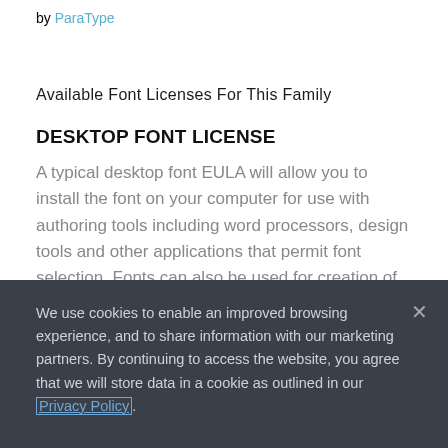by ParaType
Available Font Licenses For This Family
DESKTOP FONT LICENSE
A typical desktop font EULA will allow you to install the font on your computer for use with authoring tools including word processors, design tools and other applications that permit font selection. Fonts can also be used for creation of print documents, static images (JPEG, TIFF, PNG) and logos. The cost of a desktop font
We use cookies to enable an improved browsing experience, and to share information with our marketing partners. By continuing to access the website, you agree that we will store data in a cookie as outlined in our Privacy Policy.